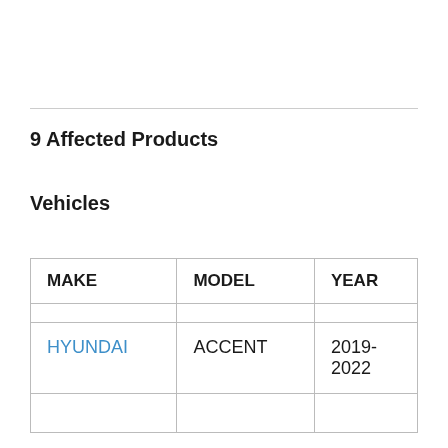9 Affected Products
Vehicles
| MAKE | MODEL | YEAR |
| --- | --- | --- |
| HYUNDAI | ACCENT | 2019-2022 |